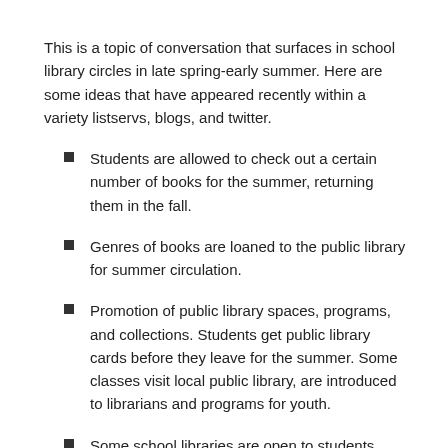This is a topic of conversation that surfaces in school library circles in late spring-early summer.  Here are some ideas that have appeared recently within a variety listservs, blogs, and twitter.
Students are allowed to check out a certain number of books for the summer, returning them in the fall.
Genres of books are loaned to the public library for summer circulation.
Promotion of public library spaces, programs, and collections. Students get public library cards before they leave for the summer.  Some classes visit local public library, are introduced to librarians and programs for youth.
Some school libraries are open to students, parents, teachers for self selection and self checkout when the building is open, even if the teacher librarian is not